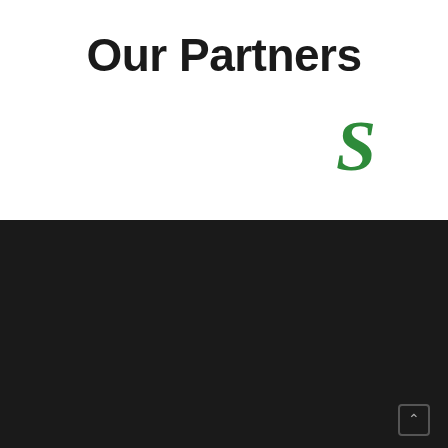Our Partners
[Figure (logo): Stripe 'S' logo in green italic serif font]
[Figure (logo): Jubilee Corporation logo: oval with JC initials and company name in white on black background]
Head Office
First Floor, Fakhri Trade Centre, Shahrah-e-Liaquat, Karachi-74200, Pakistan.
P.O.Box 677
info@jubileecorporation.com
(92-21) 3260 2200 – 07 (8 lines)